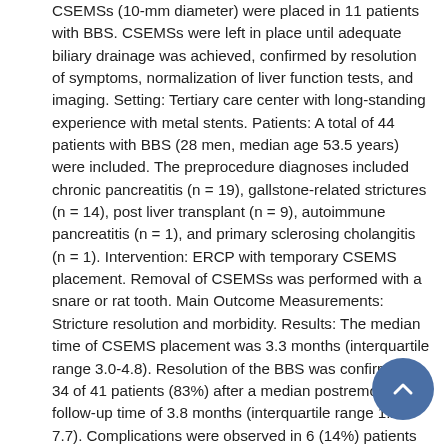CSEMSs (10-mm diameter) were placed in 11 patients with BBS. CSEMSs were left in place until adequate biliary drainage was achieved, confirmed by resolution of symptoms, normalization of liver function tests, and imaging. Setting: Tertiary care center with long-standing experience with metal stents. Patients: A total of 44 patients with BBS (28 men, median age 53.5 years) were included. The preprocedure diagnoses included chronic pancreatitis (n = 19), gallstone-related strictures (n = 14), post liver transplant (n = 9), autoimmune pancreatitis (n = 1), and primary sclerosing cholangitis (n = 1). Intervention: ERCP with temporary CSEMS placement. Removal of CSEMSs was performed with a snare or rat tooth. Main Outcome Measurements: Stricture resolution and morbidity. Results: The median time of CSEMS placement was 3.3 months (interquartile range 3.0-4.8). Resolution of the BBS was confirmed in 34 of 41 patients (83%) after a median postremoval follow-up time of 3.8 months (interquartile range 1.2-7.7). Complications were observed in 6 (14%) patients after CSEMS placement and in 4 (9%) after CSEMS removal. Limitation: Pilot study from a single center. Conclusion: Temporary placement of CSEMSs for BBS may offer an alternative to plastic stenting. Further investigation is required to further assess safety and long-term efficacy.